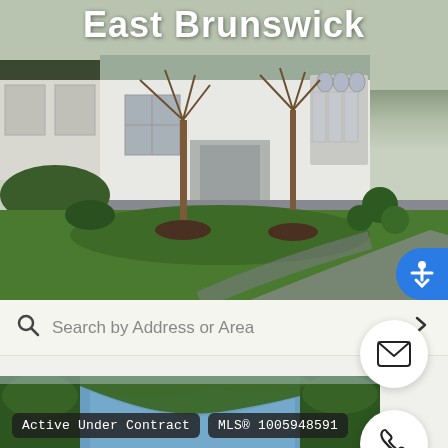East Brunswick
[Figure (photo): Aerial and ground-level view of a large white residential property with ornate arched windows, green lawn, circular driveway, and trees in front. Background shows overcast sky.]
Search by Address or Area
[Figure (photo): Aerial view of a river or lake surrounded by green forest trees. Listing card shows Active Under Contract status and MLS® 1005948591.]
Active Under Contract
MLS® 1005948591